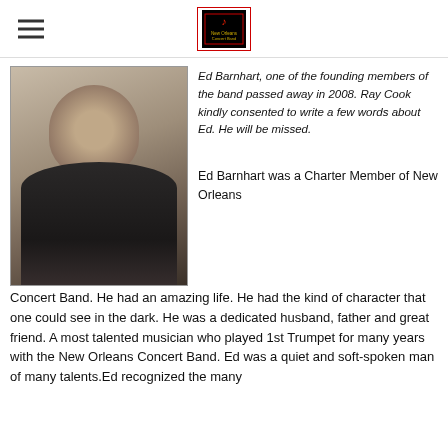[New Orleans Concert Band logo]
[Figure (photo): Portrait photo of Ed Barnhart, a man in a dark suit with striped tie, smiling at the camera]
Ed Barnhart, one of the founding members of the band passed away in 2008. Ray Cook kindly consented to write a few words about Ed. He will be missed.
Ed Barnhart was a Charter Member of New Orleans Concert Band. He had an amazing life. He had the kind of character that one could see in the dark. He was a dedicated husband, father and great friend. A most talented musician who played 1st Trumpet for many years with the New Orleans Concert Band. Ed was a quiet and soft-spoken man of many talents.Ed recognized the many